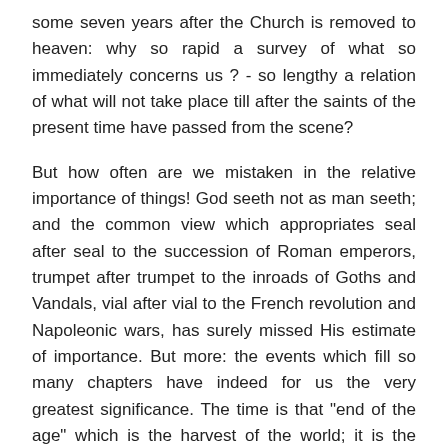some seven years after the Church is removed to heaven: why so rapid a survey of what so immediately concerns us ? - so lengthy a relation of what will not take place till after the saints of the present time have passed from the scene?
But how often are we mistaken in the relative importance of things! God seeth not as man seeth; and the common view which appropriates seal after seal to the succession of Roman emperors, trumpet after trumpet to the inroads of Goths and Vandals, vial after vial to the French revolution and Napoleonic wars, has surely missed His estimate of importance. But more: the events which fill so many chapters have indeed for us the very greatest significance. The time is that "end of the age" which is the harvest of the world; it is the judgment for which all around is ripening, and in which every thing comes out as He who judges sees it. Is it not for us of the greatest possible moment to see that final, conclusive end of what is now often so pretentious and delusive? And we may surely gather, if we will, lessons of sanctification of the most practical nature. Indeed we are sanctified by the truth: